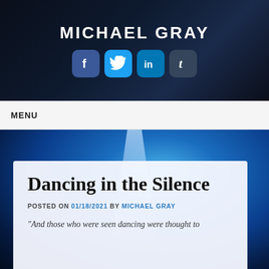MICHAEL GRAY
[Figure (other): Social media icons: Facebook, Twitter, LinkedIn, Tumblr]
MENU
[Figure (photo): Blue sparkle/bokeh background with light beam effect]
Dancing in the Silence
POSTED ON 01/18/2021 BY MICHAEL GRAY
“And those who were seen dancing were thought to